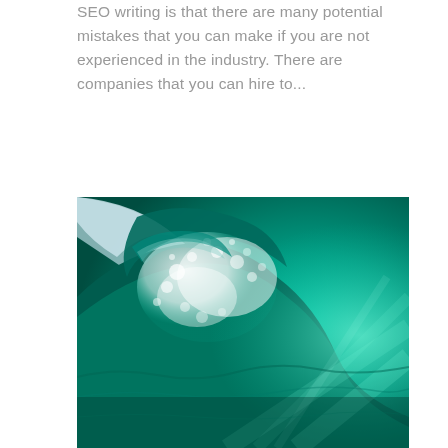SEO writing is that there are many potential mistakes that you can make if you are not experienced in the industry. There are companies that you can hire to...
[Figure (photo): Close-up underwater photo of a breaking ocean wave, showing turquoise/teal water with white foam and bubbles, with light filtering through the wave from the right side.]